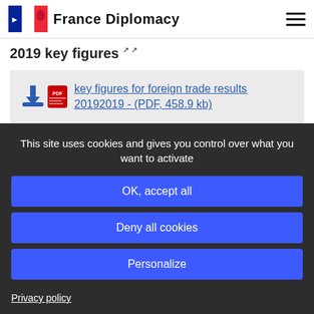France Diplomacy
2019 key figures
key figures for foreign trade results 20192019 - (PDF, 458.9 kb)
This site uses cookies and gives you control over what you want to activate
OK, accept all
Deny all cookies
Personalize
Privacy policy